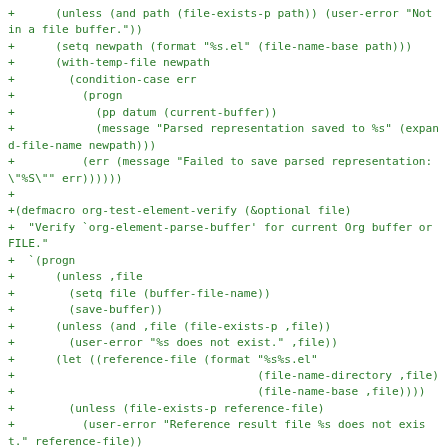+      (unless (and path (file-exists-p path)) (user-error "Not in a file buffer."))
+      (setq newpath (format "%s.el" (file-name-base path)))
+      (with-temp-file newpath
+        (condition-case err
+          (progn
+            (pp datum (current-buffer))
+            (message "Parsed representation saved to %s" (expand-file-name newpath)))
+          (err (message "Failed to save parsed representation: \"%S\"" err))))))))
+
+(defmacro org-test-element-verify (&optional file)
+  "Verify `org-element-parse-buffer' for current Org buffer or FILE."
+  `(progn
+      (unless ,file
+        (setq file (buffer-file-name))
+        (save-buffer))
+      (unless (and ,file (file-exists-p ,file))
+        (user-error "%s does not exist." ,file))
+      (let ((reference-file (format "%s%s.el"
+                                    (file-name-directory ,file)
+                                    (file-name-base ,file))))
+        (unless (file-exists-p reference-file)
+          (user-error "Reference result file %s does not exist." reference-file))